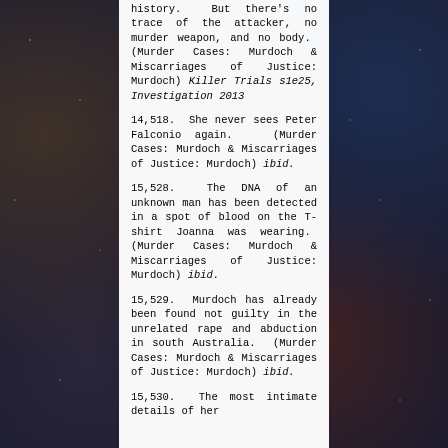history. But there's no trace of the attacker, no murder weapon, and no body. (Murder Cases: Murdoch & Miscarriages of Justice: Murdoch) Killer Trials s1e25, Investigation 2013
14,518. She never sees Peter Falconio again. (Murder Cases: Murdoch & Miscarriages of Justice: Murdoch) ibid.
15,528. The DNA of an unknown man has been detected in a spot of blood on the T-shirt Joanna was wearing. (Murder Cases: Murdoch & Miscarriages of Justice: Murdoch) ibid.
15,529. Murdoch has already been found not guilty in the unrelated rape and abduction in south Australia. (Murder Cases: Murdoch & Miscarriages of Justice: Murdoch) ibid.
15,530. The most intimate details of her